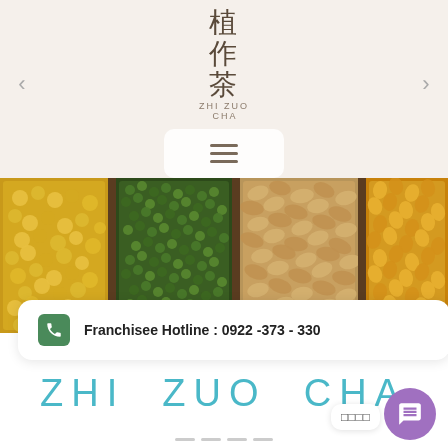[Figure (logo): Zhi Zuo Cha logo with Chinese characters 植作茶 and wheat graphic]
[Figure (photo): Four wooden compartments filled with various grains: yellow corn/soybeans, green mung beans, peanuts, and yellow corn kernels]
Franchisee Hotline : 0922 -373 - 330
ZHI ZUO CHA